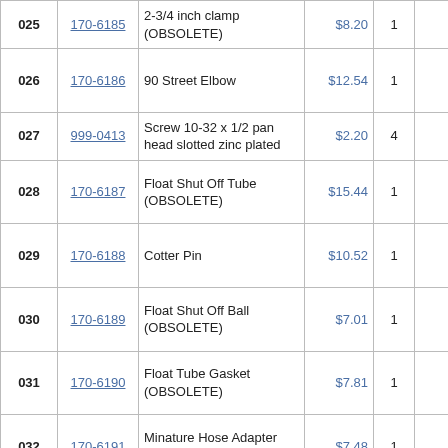| # | Part | Description | Price | Qty |  | Shipping |
| --- | --- | --- | --- | --- | --- | --- |
| 025 | 170-6185 | 2-3/4 inch clamp (OBSOLETE) | $8.20 | 1 |  | ships ... days |
| 026 | 170-6186 | 90 Street Elbow | $12.54 | 1 |  | usual ships days |
| 027 | 999-0413 | Screw 10-32 x 1/2 pan head slotted zinc plated | $2.20 | 4 |  | ships same |
| 028 | 170-6187 | Float Shut Off Tube (OBSOLETE) | $15.44 | 1 |  | usual ships days |
| 029 | 170-6188 | Cotter Pin | $10.52 | 1 |  | usual ships days |
| 030 | 170-6189 | Float Shut Off Ball (OBSOLETE) | $7.01 | 1 |  | usual ships days |
| 031 | 170-6190 | Float Tube Gasket (OBSOLETE) | $7.81 | 1 |  | usual ships days |
| 032 | 170-6191 | Minature Hose Adapter (OBSOLETE) | $7.48 | 1 |  | usual ships days |
|  |  |  |  |  |  | usual |